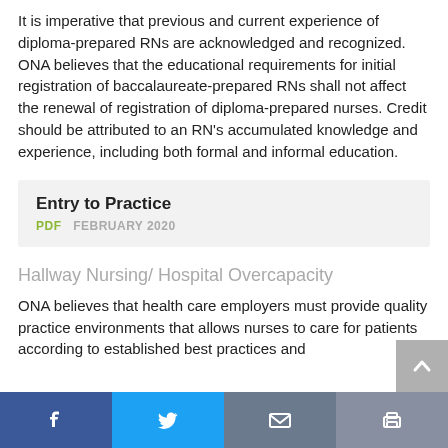It is imperative that previous and current experience of diploma-prepared RNs are acknowledged and recognized. ONA believes that the educational requirements for initial registration of baccalaureate-prepared RNs shall not affect the renewal of registration of diploma-prepared nurses. Credit should be attributed to an RN's accumulated knowledge and experience, including both formal and informal education.
Entry to Practice
PDF   FEBRUARY 2020
Hallway Nursing/ Hospital Overcapacity
ONA believes that health care employers must provide quality practice environments that allows nurses to care for patients according to established best practices and
Facebook | Twitter | Email | Print